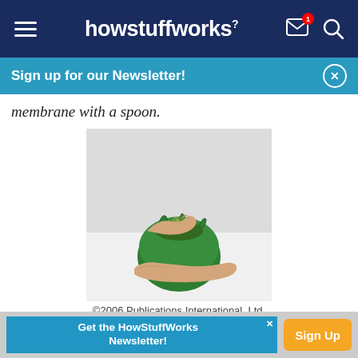howstuffworks
Sign up for our Newsletter!
membrane with a spoon.
[Figure (photo): Hands holding a green bell pepper, pulling the stem from the top of the pepper. The pepper is inverted with the stem end up on a white surface.]
©2006 Publications International, Ltd.
Pull stem from pepper.
Get the HowStuffWorks Newsletter! Sign Up